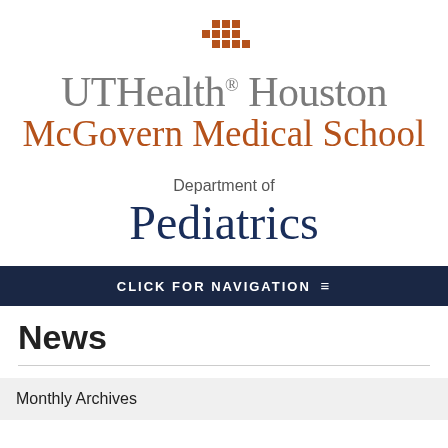[Figure (logo): UTHealth Houston McGovern Medical School logo with a cross symbol in orange/brown above gray serif text 'UTHealth Houston' and orange-brown serif text 'McGovern Medical School']
Department of
Pediatrics
CLICK FOR NAVIGATION ≡
News
Monthly Archives